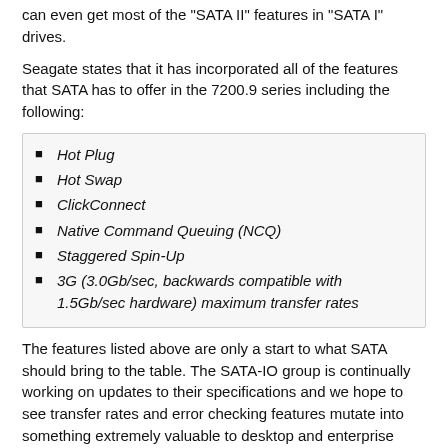can even get most of the "SATA II" features in "SATA I" drives.
Seagate states that it has incorporated all of the features that SATA has to offer in the 7200.9 series including the following:
Hot Plug
Hot Swap
ClickConnect
Native Command Queuing (NCQ)
Staggered Spin-Up
3G (3.0Gb/sec, backwards compatible with 1.5Gb/sec hardware) maximum transfer rates
The features listed above are only a start to what SATA should bring to the table. The SATA-IO group is continually working on updates to their specifications and we hope to see transfer rates and error checking features mutate into something extremely valuable to desktop and enterprise users alike.
In 2004, 20% of hard disk drives shipped were SATA based - about 41 million, according to Seagate Market Research. It is estimated that this year, the percentage will increase to 80% of shipped